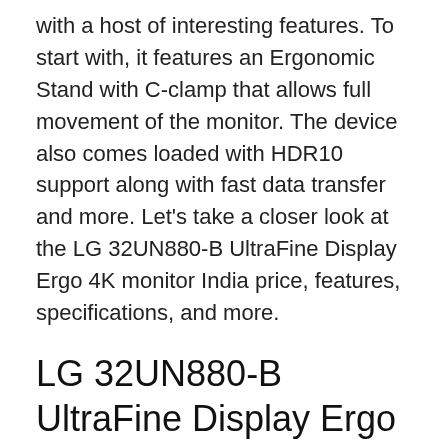with a host of interesting features. To start with, it features an Ergonomic Stand with C-clamp that allows full movement of the monitor. The device also comes loaded with HDR10 support along with fast data transfer and more. Let's take a closer look at the LG 32UN880-B UltraFine Display Ergo 4K monitor India price, features, specifications, and more.
LG 32UN880-B UltraFine Display Ergo 4K monitor price in India
The LG 32UN880-B UltraFine Display Ergo 4K monitor India price is Rs 59,999. The monitor is available in single black colour option. The device is available for purchase on Amazon with 10 per cent instant discount up to Rs 1,500 with SBI credit card. It also comes with